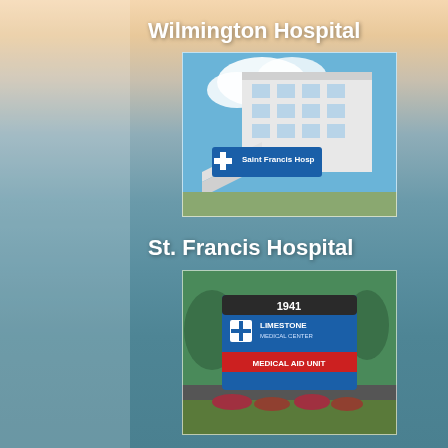Wilmington Hospital
[Figure (photo): Saint Francis Hospital building exterior with blue sky and clouds, showing the Saint Francis Hospital sign in blue]
St. Francis Hospital
[Figure (photo): Limestone Medical Center sign with '1941' and 'Medical Aid Unit' text, surrounded by landscaping and trees]
Limestone Surgicenter
[Figure (photo): Exterior of a medical building with blue sky and clouds visible]